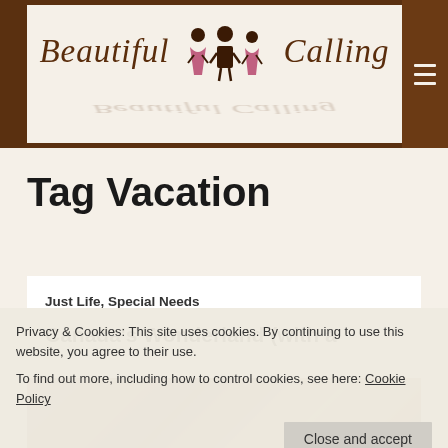Beautiful Calling
Tag Vacation
Just Life, Special Needs
Canada's Wonderland (with a special needs child)
[Figure (photo): Photo of children at Canada's Wonderland, partially visible at bottom of page]
Privacy & Cookies: This site uses cookies. By continuing to use this website, you agree to their use.
To find out more, including how to control cookies, see here: Cookie Policy
Close and accept